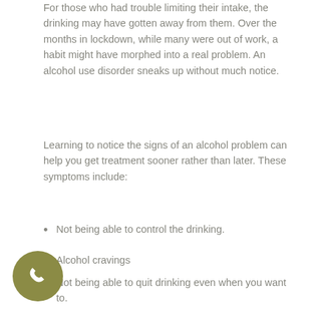For those who had trouble limiting their intake, the drinking may have gotten away from them. Over the months in lockdown, while many were out of work, a habit might have morphed into a real problem. An alcohol use disorder sneaks up without much notice.
Learning to notice the signs of an alcohol problem can help you get treatment sooner rather than later. These symptoms include:
Not being able to control the drinking.
Alcohol cravings
Not being able to quit drinking even when you want to.
Not fulfilling obligations at work or home.
Increased tolerance